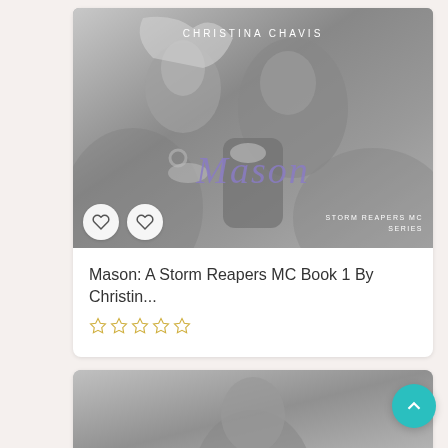[Figure (illustration): Book cover for 'Mason: A Storm Reapers MC Book 1' by Christina Chavis. Grayscale photo of a couple embracing/kissing with tattoos visible, with the title 'Mason' in purple italic script overlaid. Bottom right reads 'STORM REAPERS MC SERIES'. Two heart/like buttons appear at the bottom left of the cover.]
Mason: A Storm Reapers MC Book 1 By Christin...
☆☆☆☆☆
[Figure (photo): Partial book cover image at the bottom of the page, showing a grayscale photo of a person.]